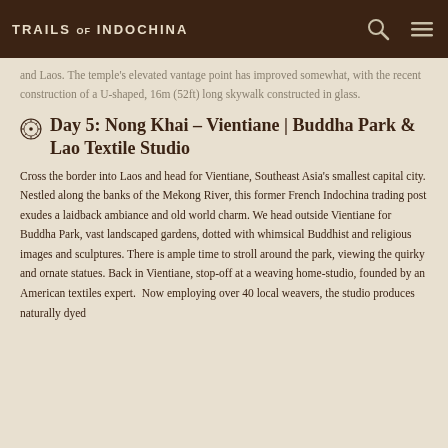TRAILS OF INDOCHINA
and Laos. The temple's elevated vantage point has improved somewhat, with the recent construction of a U-shaped, 16m (52ft) long skywalk constructed in glass.
Day 5: Nong Khai – Vientiane | Buddha Park & Lao Textile Studio
Cross the border into Laos and head for Vientiane, Southeast Asia's smallest capital city. Nestled along the banks of the Mekong River, this former French Indochina trading post exudes a laidback ambiance and old world charm. We head outside Vientiane for Buddha Park, vast landscaped gardens, dotted with whimsical Buddhist and religious images and sculptures. There is ample time to stroll around the park, viewing the quirky and ornate statues. Back in Vientiane, stop-off at a weaving home-studio, founded by an American textiles expert. Now employing over 40 local weavers, the studio produces naturally dyed